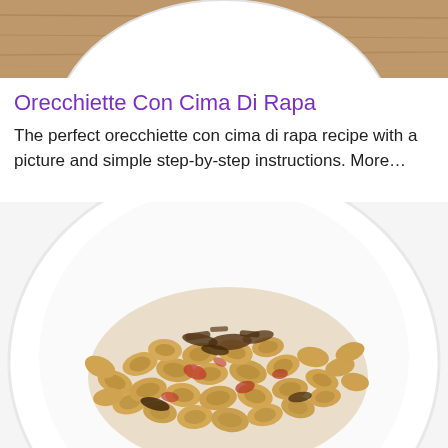[Figure (photo): Top portion of a white plate on a wooden surface, showing only the upper arc of the plate against a tan/wood background]
Orecchiette Con Cima Di Rapa
The perfect orecchiette con cima di rapa recipe with a picture and simple step-by-step instructions. More…
[Figure (photo): A white bowl plate containing orecchiette pasta with cima di rapa (broccoli rabe), topped with tomato sauce and sautéed vegetables, photographed from above on a white background]